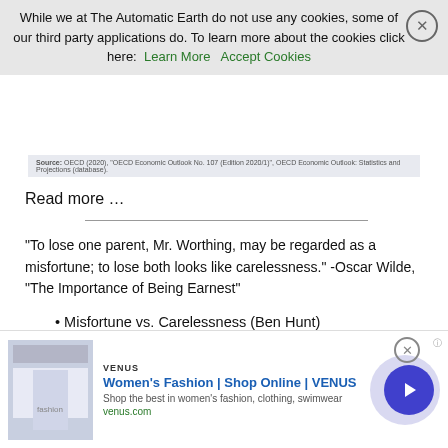While we at The Automatic Earth do not use any cookies, some of our third party applications do. To learn more about the cookies click here: Learn More  Accept Cookies
Source: OECD (2020), "OECD Economic Outlook No. 107 (Edition 2020/1)", OECD Economic Outlook: Statistics and Projections (database).
Read more …
“To lose one parent, Mr. Worthing, may be regarded as a misfortune; to lose both looks like carelessness.” -Oscar Wilde, “The Importance of Being Earnest”
Misfortune vs. Carelessness (Ben Hunt)
Back in 2013 – in some of my very first Epsilon Theory notes – I wrote about how unemployment data was chronically misreported during Barack Obama’s first term, with an outrageous bias towards
[Figure (screenshot): Advertisement: Women's Fashion | Shop Online | VENUS. Shop the best in women's fashion, clothing, swimwear. venus.com]